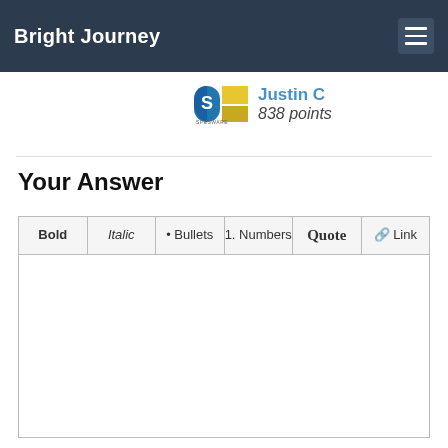Bright Journey
[Figure (logo): Spesware logo with blue and yellow squares]
Justin C
838 points
Your Answer
[Figure (screenshot): Text editor toolbar with buttons: Bold, Italic, Bullets, Numbers, Quote, Link]